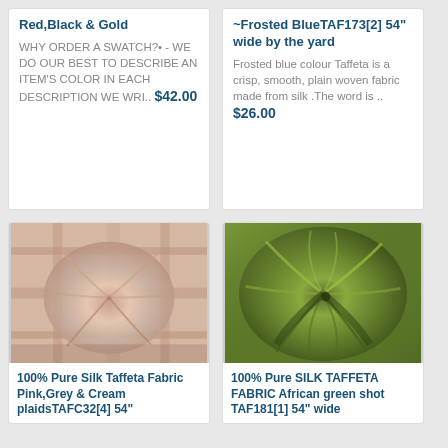Red,Black & Gold
WHY ORDER A SWATCH?•  - WE DO OUR BEST TO DESCRIBE AN ITEM'S COLOR IN EACH DESCRIPTION WE WRI..
$42.00
~Frosted BlueTAF173[2] 54" wide by the yard
Frosted blue colour Taffeta is a crisp, smooth, plain woven fabric made from silk .The word is ..
$26.00
[Figure (photo): Pink, grey and cream plaid silk taffeta fabric twisted into a swirl]
100% Pure Silk Taffeta Fabric Pink,Grey & Cream plaidsTAFC32[4] 54"
[Figure (photo): African green shot silk taffeta fabric twisted into a swirl]
100% Pure SILK TAFFETA FABRIC African green shot TAF181[1] 54" wide